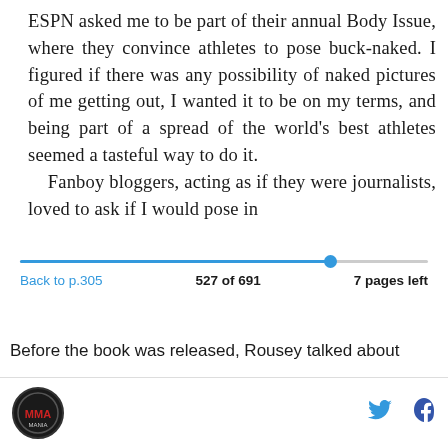ESPN asked me to be part of their annual Body Issue, where they convince athletes to pose buck-naked. I figured if there was any possibility of naked pictures of me getting out, I wanted it to be on my terms, and being part of a spread of the world's best athletes seemed a tasteful way to do it.
    Fanboy bloggers, acting as if they were journalists, loved to ask if I would pose in
Back to p.305    527 of 691    7 pages left
Before the book was released, Rousey talked about